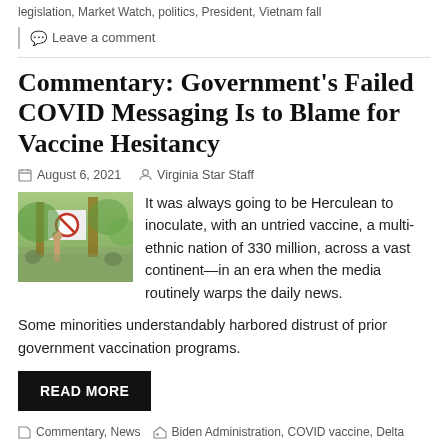legislation, Market Watch, politics, President, Vietnam fall
Leave a comment
Commentary: Government's Failed COVID Messaging Is to Blame for Vaccine Hesitancy
August 6, 2021  Virginia Star Staff
[Figure (photo): Person holding a sign with a no symbol (circle with diagonal line) at what appears to be an outdoor protest or rally with trees in the background.]
It was always going to be Herculean to inoculate, with an untried vaccine, a multi-ethnic nation of 330 million, across a vast continent—in an era when the media routinely warps the daily news.
Some minorities understandably harbored distrust of prior government vaccination programs.
READ MORE
Commentary, News  Biden Administration, COVID vaccine, Delta